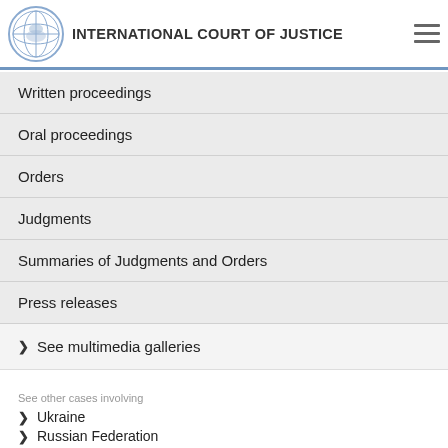INTERNATIONAL COURT OF JUSTICE
Written proceedings
Oral proceedings
Orders
Judgments
Summaries of Judgments and Orders
Press releases
See multimedia galleries
See other cases involving
Ukraine
Russian Federation
See other cases involving
Provisional measures
Preliminary objections